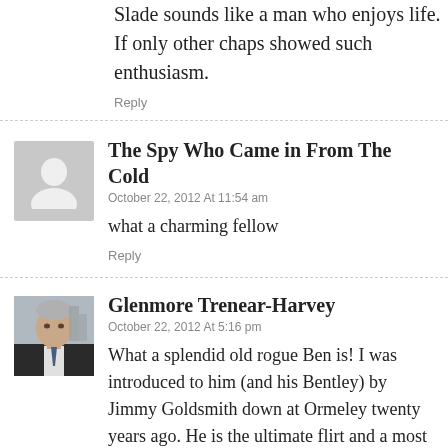Slade sounds like a man who enjoys life. If only other chaps showed such enthusiasm.
Reply
The Spy Who Came in From The Cold
October 22, 2012 At 11:54 am
what a charming fellow
Reply
Glenmore Trenear-Harvey
October 22, 2012 At 5:16 pm
What a splendid old rogue Ben is! I was introduced to him (and his Bentley) by Jimmy Goldsmith down at Ormeley twenty years ago. He is the ultimate flirt and a most engaging, clubbable cove.